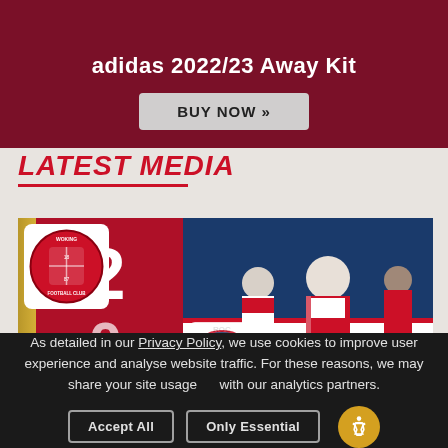adidas 2022/23 Away Kit
BUY NOW »
LATEST MEDIA
[Figure (photo): Football match score graphic showing 2-0 with Woking FC badge and players celebrating in red and white kit]
As detailed in our Privacy Policy, we use cookies to improve user experience and analyse website traffic. For these reasons, we may share your site usage with our analytics partners.